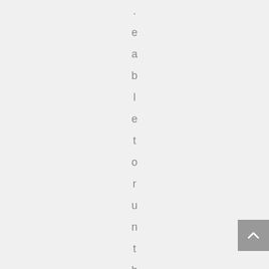.eabletorunthem.Topl
[Figure (other): Scroll-to-top button (up arrow) in grey square at bottom right]